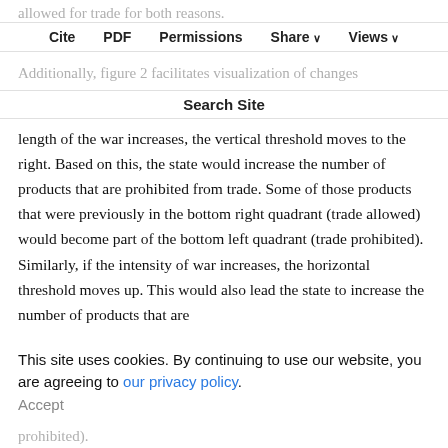allowed for trade for both reasons.
Cite   PDF   Permissions   Share   Views
Additionally, figure 2 facilitates visualization of changes to a state's wartime commercial policy. If the expected
Search Site
length of the war increases, the vertical threshold moves to the right. Based on this, the state would increase the number of products that are prohibited from trade. Some of those products that were previously in the bottom right quadrant (trade allowed) would become part of the bottom left quadrant (trade prohibited). Similarly, if the intensity of war increases, the horizontal threshold moves up. This would also lead the state to increase the number of products that are prohibited from trade. Some products that were previously in the top left quadrant (trade allowed) would become part of the bottom left quadrant (trade prohibited).
This site uses cookies. By continuing to use our website, you are agreeing to our privacy policy. Accept